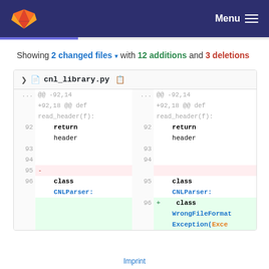Menu
Showing 2 changed files with 12 additions and 3 deletions
| left line | left code | right line | right code |
| --- | --- | --- | --- |
| ... | @@ -92,14 +92,18 @@ def read_header(f): | ... | @@ -92,14 +92,18 @@ def read_header(f): |
| 92 |     return header | 92 |     return header |
| 93 |  | 93 |  |
| 94 |  | 94 |  |
| 95 | - |  |  |
| 96 |     class CNLParser: | 95 |     class CNLParser: |
|  |  | 96 | +    class WrongFileFormatException(Exce |
Imprint